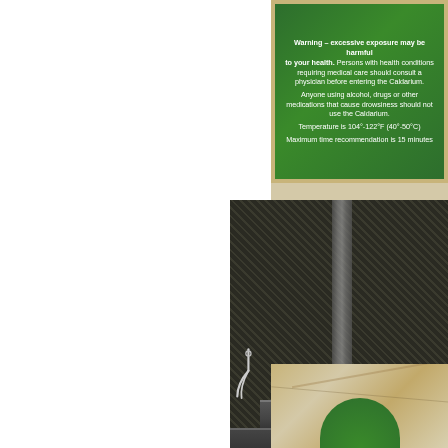[Figure (photo): Green sign on marble wall with white text warning about Caldarium usage. Text reads: Warning – excessive exposure may be harmful to your health. Persons with health conditions requiring medical care should consult a physician before entering the Caldarium. Anyone using alcohol, drugs or other medications that cause drowsiness should not use the Caldarium. Temperature is 104°-122°F (40°-50°C). Maximum time recommendation is 15 minutes.]
[Figure (photo): Interior of a steam room/Caldarium with dark mosaic tile walls, marble benches at two levels, a metallic handrail or shower head on the left wall, and a marble pillar in the background.]
[Figure (photo): Partial view of marble wall/surface with green Caldarium sign partially visible at bottom.]